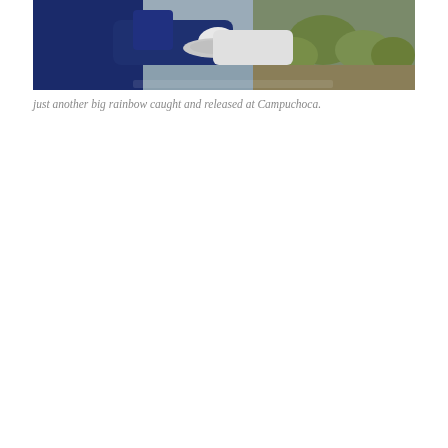[Figure (photo): A person in a dark navy blue fleece/sweatshirt holding a large rainbow trout with both hands near rocky terrain with green shrubs and a body of water visible in the background.]
just another big rainbow caught and released at Campuchoca.